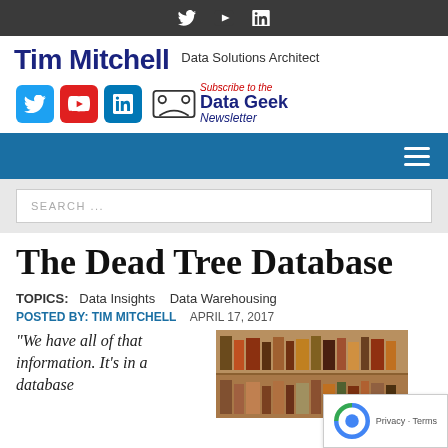Twitter YouTube LinkedIn (social icons)
Tim Mitchell — Data Solutions Architect
[Figure (logo): Tim Mitchell blog logo with Twitter, YouTube, LinkedIn social icons and Data Geek Newsletter subscription icon]
[Figure (screenshot): Navigation bar with hamburger menu icon on blue background]
[Figure (screenshot): Search bar with SEARCH ... placeholder text on grey background]
The Dead Tree Database
TOPICS: Data Insights Data Warehousing
POSTED BY: TIM MITCHELL   APRIL 17, 2017
“We have all of that information. It’s in a database
[Figure (photo): Photo of bookshelves with books and folders in a library or archive setting]